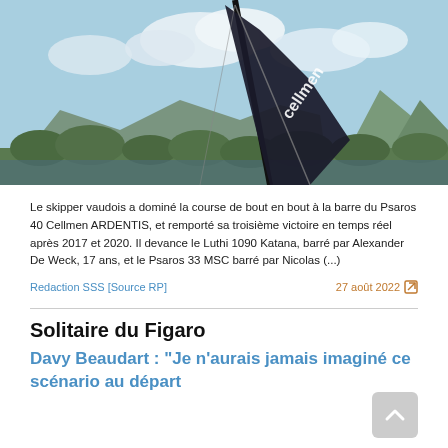[Figure (photo): A dark sailboat with 'cellmen' branding on the mast, leaning heavily in the water with mountains and clouds in the background.]
Le skipper vaudois a dominé la course de bout en bout à la barre du Psaros 40 Cellmen ARDENTIS, et remporté sa troisième victoire en temps réel après 2017 et 2020. Il devance le Luthi 1090 Katana, barré par Alexander De Weck, 17 ans, et le Psaros 33 MSC barré par Nicolas (...)
Redaction SSS [Source RP]
27 août 2022
Solitaire du Figaro
Davy Beaudart : "Je n'aurais jamais imaginé ce scénario au départ